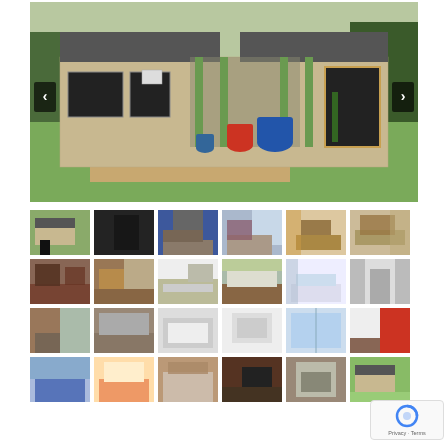[Figure (photo): Main exterior photo of a single-storey brick house with green lawn, covered porch with green posts, and large blue/red plant pots. Navigation arrows visible on left and right sides.]
[Figure (photo): Grid of 24 thumbnail photos showing various interior and exterior views of the property including living rooms, kitchen, bedrooms, bathrooms, and outdoor areas.]